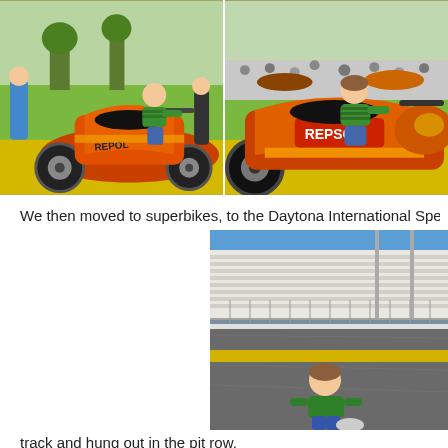[Figure (photo): Child climbing on an orange Repsol-branded motorcycle (Honda CBR) on a yellow track surface, with adults and green grass in background]
[Figure (photo): Same child sitting on the orange Repsol motorcycle, closer view, with 'Repsol' branding visible]
We then moved to superbikes, to the Daytona International Speedway whe
[Figure (photo): Young child in green jacket sitting on the Daytona International Speedway track near yellow line, with grandstands and fencing visible in background under blue sky]
track and hung out in the pit row.
[Figure (photo): Daytona International Speedway track and grandstands from ground level, blue sky]
[Figure (photo): Daytona International Speedway, another angle of track/grandstands]